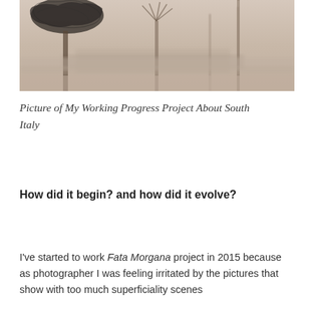[Figure (photo): A hazy, foggy outdoor scene with palm-like trees, one with dark scribbled canopy at top left, set against a pale pinkish-beige misty background. A building or structure is faintly visible in the background.]
Picture of My Working Progress Project About South Italy
How did it begin? and how did it evolve?
I've started to work Fata Morgana project in 2015 because as photographer I was feeling irritated by the pictures that show with too much superficiality scenes